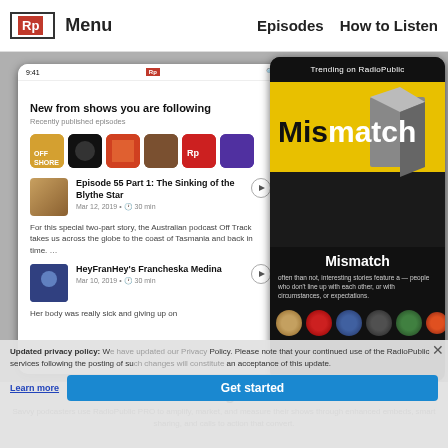Rp Menu | Episodes | How to Listen
[Figure (screenshot): Left phone screenshot showing RadioPublic app: 'New from shows you are following', podcast icons row, episode cards for 'Episode 55 Part 1: The Sinking of the Blythe Star' (Mar 12, 2019 • 30 min) and 'HeyFranHey's Francheska Medina' (Mar 10, 2019 • 30 min)]
[Figure (screenshot): Right phone screenshot showing RadioPublic app trending section with 'Mismatch' podcast cover (yellow/black design), title 'Mismatch', description text about interesting stories, and podcast thumbnail row]
Time to go PRO
Savvy podcasters use RadioPublic PRO to amplify, market, and measure their shows through enhanced embeds, smart sharing, and calls to action that convert.
Updated privacy policy: W... Policy. Please note that your continued use of the RadioPublic services following the posting of su... an acceptance of this update.
Learn more
Get started